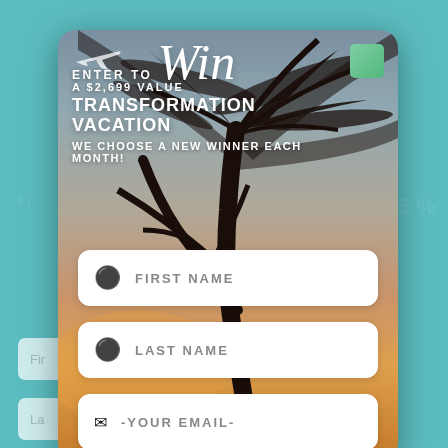[Figure (screenshot): A promotional popup/modal overlay on a teal background showing a contest entry form for a 'Transformation Vacation' worth $2,699. The modal features a tropical beach sunset with palm tree silhouette background. It includes the headline 'ENTER TO Win A $2,699 VALUE TRANSFORMATION VACATION WE CHOOSE A NEW WINNER EACH MONTH!' and three form input fields: FIRST NAME, LAST NAME, and -YOUR EMAIL-. Behind the modal, partially visible form fields and a percentage symbol are visible on the teal background.]